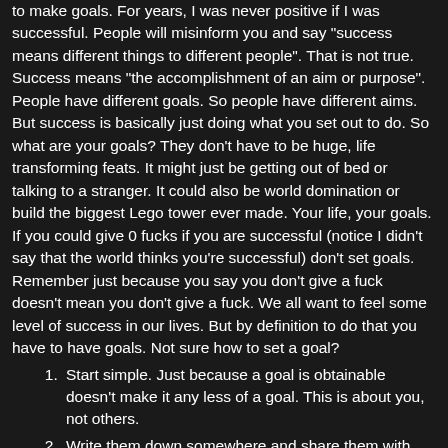to make goals. For years, I was never positive if I was successful. People will misinform you and say "success means different things to different people". That is not true. Success means "the accomplishment of an aim or purpose". People have different goals. So people have different aims. But success is basically just doing what you set out to do. So what are your goals? They don't have to be huge, life transforming feats. It might just be getting out of bed or talking to a stranger. It could also be world domination or build the biggest Lego tower ever made. Your life, your goals. If you could give 0 fucks if you are successful (notice I didn't say that the world thinks you're successful) don't set goals.  Remember just because you say you don't give a fuck doesn't mean you don't give a fuck. We all want to feel some level of success in our lives. But by definition to do that you have to have goals. Not sure how to set a goal?
Start simple. Just because a goal is obtainable doesn't make it any less of a goal. This is about you, not others.
Write them down somewhere and share them with others. Accountability is a great way to keep your